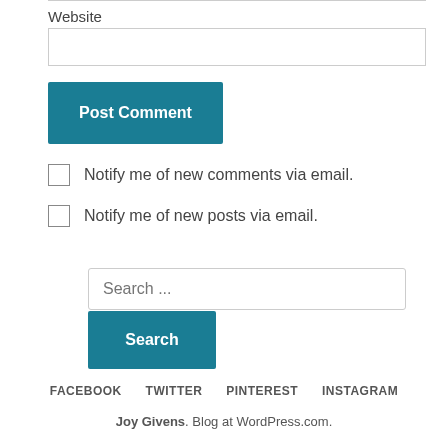Website
[Figure (screenshot): Website text input field (empty)]
[Figure (screenshot): Post Comment button (teal/blue-green)]
Notify me of new comments via email.
Notify me of new posts via email.
[Figure (screenshot): Search input field with placeholder text 'Search ...' and a Search button below]
FACEBOOK  TWITTER  PINTEREST  INSTAGRAM
Joy Givens. Blog at WordPress.com.